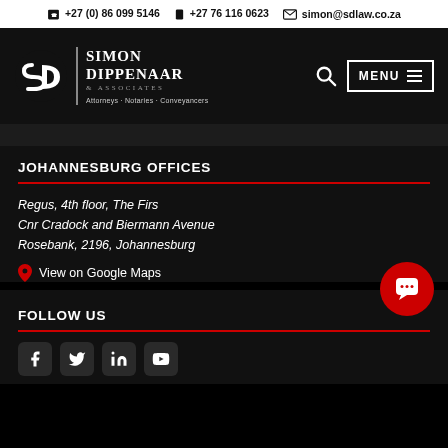☎ +27 (0) 86 099 5146   📱 +27 76 116 0623   ✉ simon@sdlaw.co.za
[Figure (logo): Simon Dippenaar & Associates law firm logo with stylized SD monogram, firm name, and tagline: Attorneys · Notaries · Conveyancers]
JOHANNESBURG OFFICES
Regus, 4th floor, The Firs
Cnr Cradock and Biermann Avenue
Rosebank, 2196, Johannesburg
📍 View on Google Maps
FOLLOW US
[Figure (other): Social media icons: Facebook, Twitter, LinkedIn, YouTube]